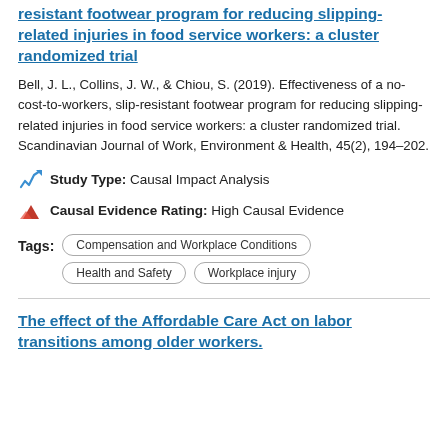resistant footwear program for reducing slipping-related injuries in food service workers: a cluster randomized trial
Bell, J. L., Collins, J. W., & Chiou, S. (2019). Effectiveness of a no-cost-to-workers, slip-resistant footwear program for reducing slipping-related injuries in food service workers: a cluster randomized trial. Scandinavian Journal of Work, Environment & Health, 45(2), 194–202.
Study Type: Causal Impact Analysis
Causal Evidence Rating: High Causal Evidence
Tags: Compensation and Workplace Conditions | Health and Safety | Workplace injury
The effect of the Affordable Care Act on labor transitions among older workers.